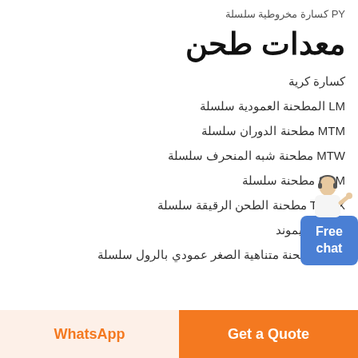PY كسارة مخروطية سلسلة
معدات طحن
كسارة كرية
LM المطحنة العمودية سلسلة
MTM مطحنة الدوران سلسلة
MTW مطحنة شبه المنحرف سلسلة
SCM مطحنة سلسلة
T130X مطحنة الطحن الرقيقة سلسلة
مطحنة ريموند
LUM مطحنة متناهية الصغر عمودي بالرول سلسلة
Get a Quote | WhatsApp